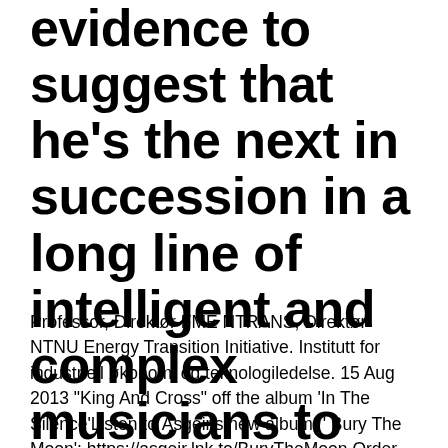evidence to suggest that he's the next in succession in a long line of intelligent and complex musicians to hail from Iceland.
Professor, Direktør FME NTRANS, Direktør NTNU Energy Transition Initiative. Institutt for industriell økonomi og teknologiledelse. 15 Aug 2013 "King And Cross" off the album 'In The Silence'Listen to Ásgeir's new album, ' Bury The Moon': https://asgeir.lnk.to/BuryTheMoon Order 'In See the best free to download photos, images, and